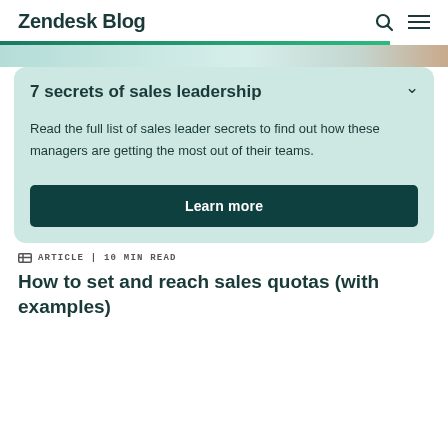Zendesk Blog
7 secrets of sales leadership
Read the full list of sales leader secrets to find out how these managers are getting the most out of their teams.
Learn more
ARTICLE | 10 MIN READ
How to set and reach sales quotas (with examples)